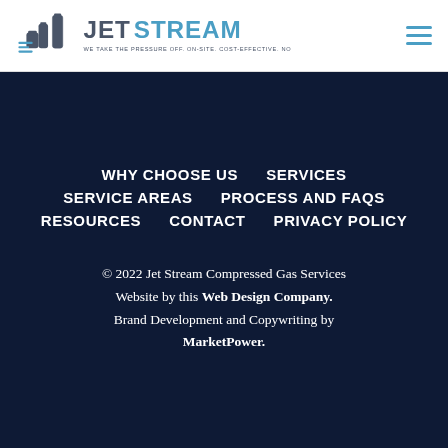[Figure (logo): JetStream Compressed Gas Services logo with gas cylinder icons and tagline: WE TAKE THE PRESSURE OFF. ON-SITE. COST-EFFECTIVE. NO SURPRISES.]
WHY CHOOSE US
SERVICES
SERVICE AREAS
PROCESS AND FAQS
RESOURCES
CONTACT
PRIVACY POLICY
© 2022 Jet Stream Compressed Gas Services Website by this Web Design Company. Brand Development and Copywriting by MarketPower.